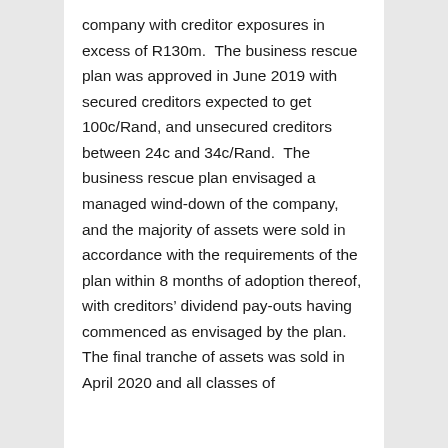company with creditor exposures in excess of R130m.  The business rescue plan was approved in June 2019 with secured creditors expected to get 100c/Rand, and unsecured creditors between 24c and 34c/Rand.  The business rescue plan envisaged a managed wind-down of the company, and the majority of assets were sold in accordance with the requirements of the plan within 8 months of adoption thereof, with creditors' dividend pay-outs having commenced as envisaged by the plan.  The final tranche of assets was sold in April 2020 and all classes of